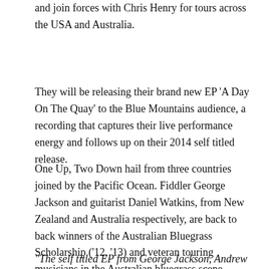and join forces with Chris Henry for tours across the USA and Australia.
They will be releasing their brand new EP 'A Day On The Quay' to the Blue Mountains audience, a recording that captures their live performance energy and follows up on their 2014 self titled release.
One Up, Two Down hail from three countries joined by the Pacific Ocean. Fiddler George Jackson and guitarist Daniel Watkins, from New Zealand and Australia respectively, are back to back winners of the Australian Bluegrass Scholarship ('12, '13) and veteran touring musicians in the Australian bluegrass scene. Together with North Carolinian, Yale School of Music trained (MM '13) double bassist Andrew Small, they bring together raw old-time groove, bluegrass dexterity, and folk storytelling.
"The self titled EP from George Jackson, Andrew Small and